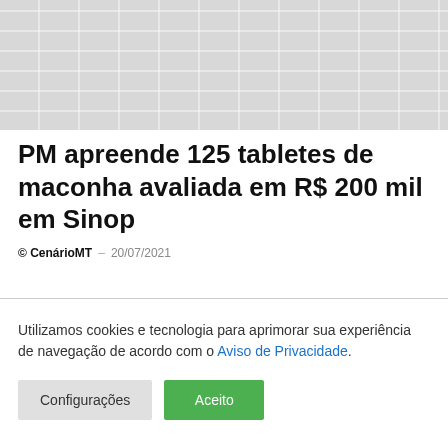[Figure (photo): Brick wall texture image in light gray tones]
PM apreende 125 tabletes de maconha avaliada em R$ 200 mil em Sinop
© CenárioMT – 20/07/2021
Utilizamos cookies e tecnologia para aprimorar sua experiência de navegação de acordo com o Aviso de Privacidade.
Configurações | Aceito